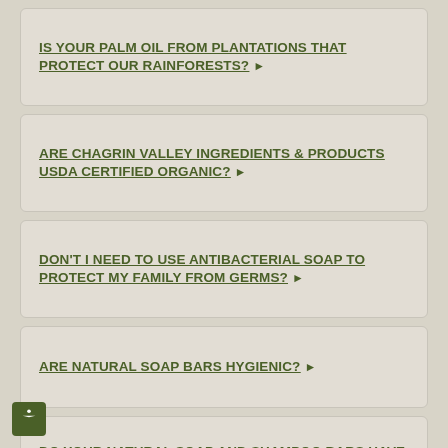IS YOUR PALM OIL FROM PLANTATIONS THAT PROTECT OUR RAINFORESTS? ▶
ARE CHAGRIN VALLEY INGREDIENTS & PRODUCTS USDA CERTIFIED ORGANIC? ▶
DON'T I NEED TO USE ANTIBACTERIAL SOAP TO PROTECT MY FAMILY FROM GERMS? ▶
ARE NATURAL SOAP BARS HYGIENIC? ▶
DO YOUR NATURAL SOAP AND SHAMPOO BARS HAVE AN EXPIRATION DATE? ▶